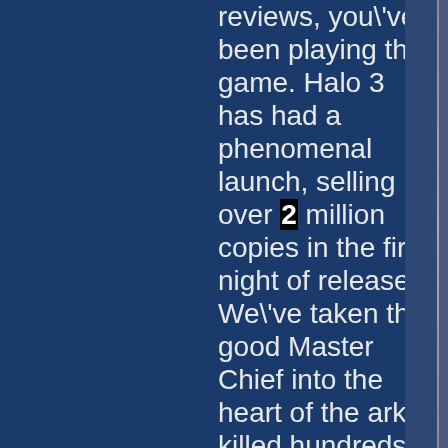reviews, you've been playing the game. Halo 3 has had a phenomenal launch, selling over 2 million copies in the first night of release. We've taken the good Master Chief into the heart of the ark, killed hundreds of thousands of Covenant